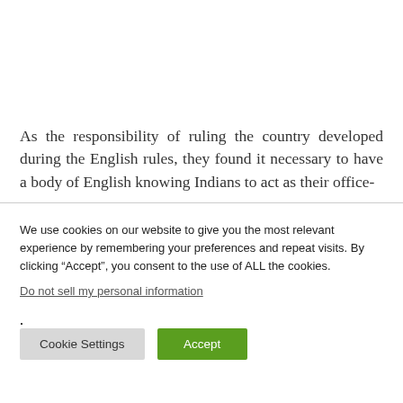As the responsibility of ruling the country developed during the English rules, they found it necessary to have a body of English knowing Indians to act as their office-
We use cookies on our website to give you the most relevant experience by remembering your preferences and repeat visits. By clicking “Accept”, you consent to the use of ALL the cookies.
Do not sell my personal information.